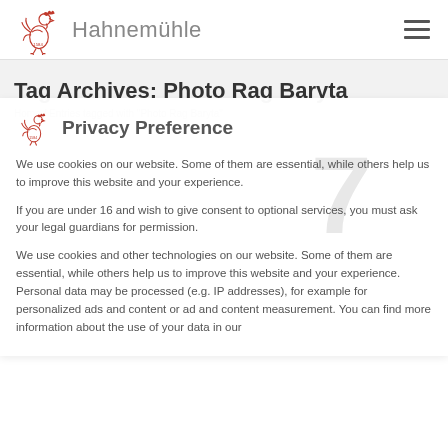Hahnemühle
Tag Archives: Photo Rag Baryta
Home / Entries tagged with "Photo Rag Baryta"
Privacy Preference
We use cookies on our website. Some of them are essential, while others help us to improve this website and your experience.
If you are under 16 and wish to give consent to optional services, you must ask your legal guardians for permission.
We use cookies and other technologies on our website. Some of them are essential, while others help us to improve this website and your experience. Personal data may be processed (e.g. IP addresses), for example for personalized ads and content or ad and content measurement. You can find more information about the use of your data in our